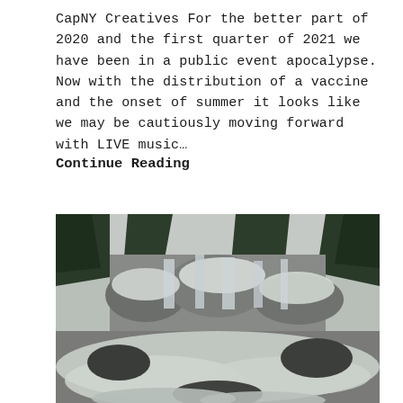CapNY Creatives For the better part of 2020 and the first quarter of 2021 we have been in a public event apocalypse. Now with the distribution of a vaccine and the onset of summer it looks like we may be cautiously moving forward with LIVE music...
Continue Reading
[Figure (photo): Photograph of a frozen waterfall cascading over dark rocks, surrounded by snow-covered evergreen trees. Ice and snow cover the rocks and flowing water in the foreground.]